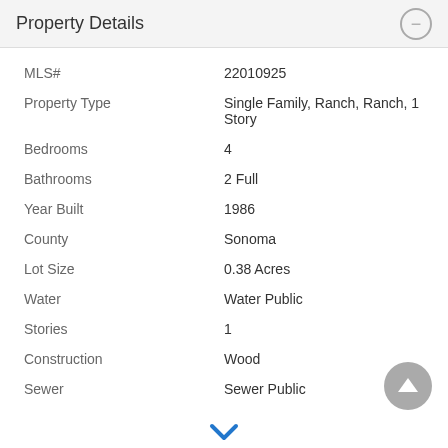Property Details
| Field | Value |
| --- | --- |
| MLS# | 22010925 |
| Property Type | Single Family, Ranch, Ranch, 1 Story |
| Bedrooms | 4 |
| Bathrooms | 2 Full |
| Year Built | 1986 |
| County | Sonoma |
| Lot Size | 0.38 Acres |
| Water | Water Public |
| Stories | 1 |
| Construction | Wood |
| Sewer | Sewer Public |
Peter Colbert